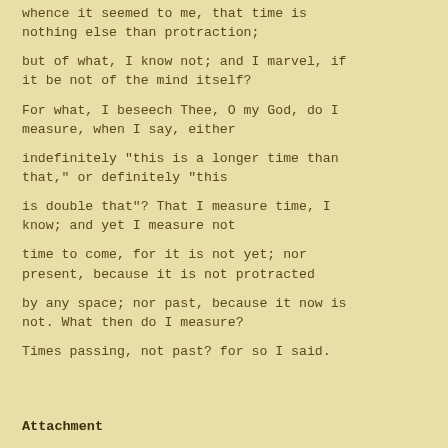whence it seemed to me, that time is nothing else than protraction;
but of what, I know not; and I marvel, if it be not of the mind itself?
For what, I beseech Thee, O my God, do I measure, when I say, either
indefinitely "this is a longer time than that," or definitely "this
is double that"? That I measure time, I know; and yet I measure not
time to come, for it is not yet; nor present, because it is not protracted
by any space; nor past, because it now is not. What then do I measure?
Times passing, not past? for so I said.
Attachment